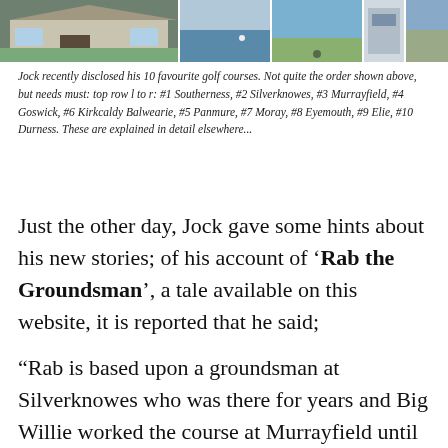[Figure (photo): A strip of five golf course photographs across the top of the page.]
Jock recently disclosed his 10 favourite golf courses. Not quite the order shown above, but needs must: top row l to r: #1 Southerness, #2 Silverknowes, #3 Murrayfield, #4 Goswick, #6 Kirkcaldy Balwearie, #5 Panmure, #7 Moray, #8 Eyemouth, #9 Elie, #10 Durness. These are explained in detail elsewhere...
Just the other day, Jock gave some hints about his new stories; of his account of ‘Rab the Groundsman’, a tale available on this website, it is reported that he said;
“Rab is based upon a groundsman at Silverknowes who was there for years and Big Willie worked the course at Murrayfield until